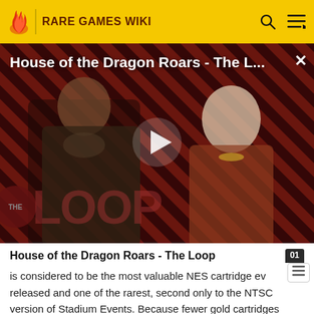RARE GAMES WIKI
[Figure (screenshot): Video thumbnail for 'House of the Dragon Roars - The L...' showing two characters in front of a red diagonal striped background with 'THE LOOP' text overlay and a play button in the center.]
House of the Dragon Roars - The Loop
is considered to be the most valuable NES cartridge ever released and one of the rarest, second only to the NTSC version of Stadium Events. Because fewer gold cartridges were manufactured, they are rarer and demand a higher